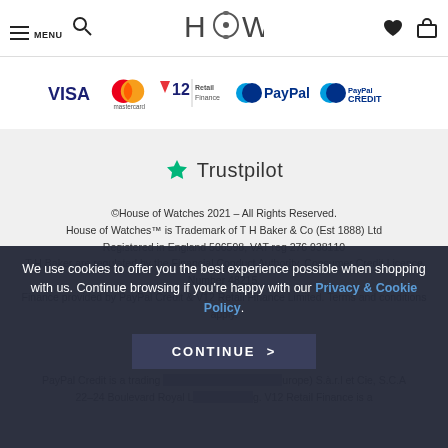MENU [search] HOW [heart] [bag]
[Figure (logo): Payment method logos: VISA, Mastercard, V12 Retail Finance, PayPal, PayPal Credit]
[Figure (logo): Trustpilot logo with green star]
©House of Watches 2021 – All Rights Reserved.
House of Watches™ is Trademark of T H Baker & Co (Est 1888) Ltd
Registered in England 506598, VAT reg 276 938110
T H Baker are regulated by the Financial Conduct Authority, Consumer Credit Licence Number 48215.
Finance provided by PayPal Credit & V12 Retail Finance Limited. Terms and conditions apply.
We use cookies to offer you the best experience possible when shopping with us. Continue browsing if you're happy with our Privacy & Cookie Policy.
PayPal Credit is a trading [name of PayPal (Europe) S.à.r.l et Cie, S.C.A] 22–24 Boulevard Royal L[uxembourg]. V12 Retail Finance is a